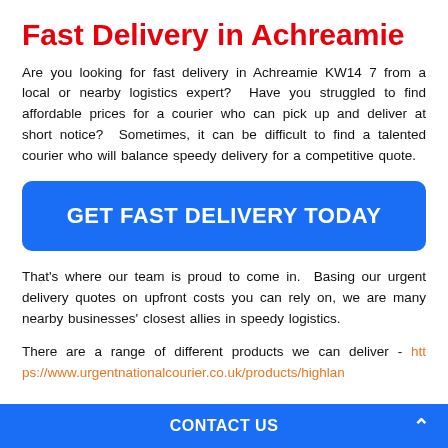Fast Delivery in Achreamie
Are you looking for fast delivery in Achreamie KW14 7 from a local or nearby logistics expert?  Have you struggled to find affordable prices for a courier who can pick up and deliver at short notice?  Sometimes, it can be difficult to find a talented courier who will balance speedy delivery for a competitive quote.
GET FAST DELIVERY TODAY
That's where our team is proud to come in.  Basing our urgent delivery quotes on upfront costs you can rely on, we are many nearby businesses' closest allies in speedy logistics.
There are a range of different products we can deliver - https://www.urgentnationalcourier.co.uk/products/highlan
CONTACT US